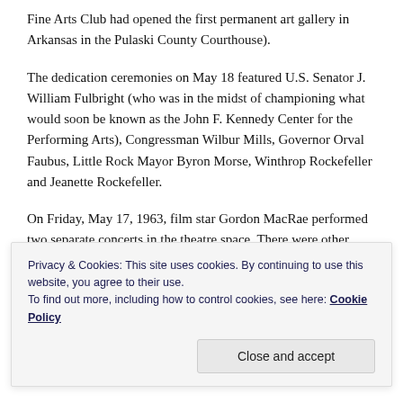Fine Arts Club had opened the first permanent art gallery in Arkansas in the Pulaski County Courthouse).
The dedication ceremonies on May 18 featured U.S. Senator J. William Fulbright (who was in the midst of championing what would soon be known as the John F. Kennedy Center for the Performing Arts), Congressman Wilbur Mills, Governor Orval Faubus, Little Rock Mayor Byron Morse, Winthrop Rockefeller and Jeanette Rockefeller.
On Friday, May 17, 1963, film star Gordon MacRae performed two separate concerts in the theatre space. There were other assorted small events and tours on May
Privacy & Cookies: This site uses cookies. By continuing to use this website, you agree to their use.
To find out more, including how to control cookies, see here: Cookie Policy